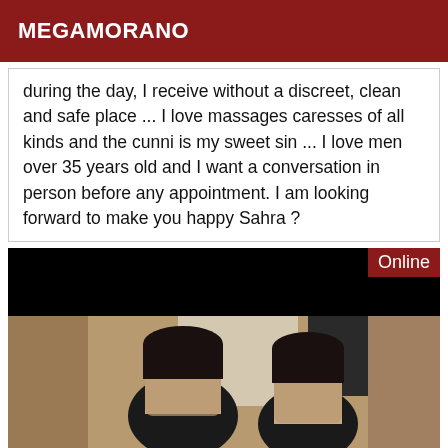MEGAMORANO
during the day, I receive without a discreet, clean and safe place ... I love massages caresses of all kinds and the cunni is my sweet sin ... I love men over 35 years old and I want a conversation in person before any appointment. I am looking forward to make you happy Sahra ?
[Figure (photo): Photo section with black blurred top bar and a photo showing two people with dark hair, faces blurred, in an indoor setting. An 'Online' badge appears in the top-right corner.]